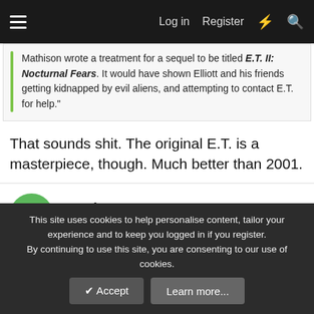Log in  Register
Mathison wrote a treatment for a sequel to be titled E.T. II: Nocturnal Fears. It would have shown Elliott and his friends getting kidnapped by evil aliens, and attempting to contact E.T. for help."
That sounds shit. The original E.T. is a masterpiece, though. Much better than 2001.
version
Well-known member
Jul 16, 2020  #20
You ever read about the game?
This site uses cookies to help personalise content, tailor your experience and to keep you logged in if you register.
By continuing to use this site, you are consenting to our use of cookies.